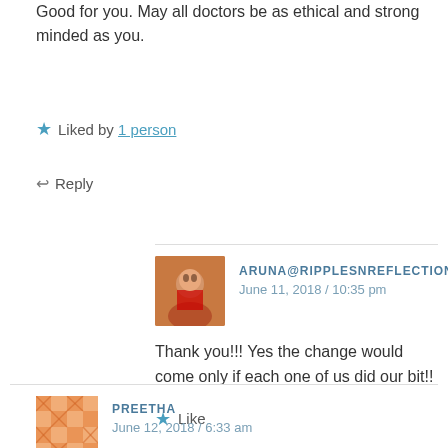Good for you. May all doctors be as ethical and strong minded as you.
Liked by 1 person
Reply
ARUNA@RIPPLESNREFLECTIONS
June 11, 2018 / 10:35 pm
Thank you!!! Yes the change would come only if each one of us did our bit!!
Like
Reply
PREETHA
June 12, 2018 / 6:33 am